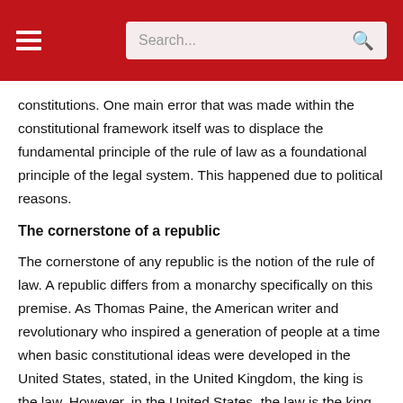Search...
constitutions. One main error that was made within the constitutional framework itself was to displace the fundamental principle of the rule of law as a foundational principle of the legal system. This happened due to political reasons.
The cornerstone of a republic
The cornerstone of any republic is the notion of the rule of law. A republic differs from a monarchy specifically on this premise. As Thomas Paine, the American writer and revolutionary who inspired a generation of people at a time when basic constitutional ideas were developed in the United States, stated, in the United Kingdom, the king is the law. However, in the United States, the law is the king.
What is really wrong with the policing system is that it lacks a guiding principle to keep its organization together. That guiding